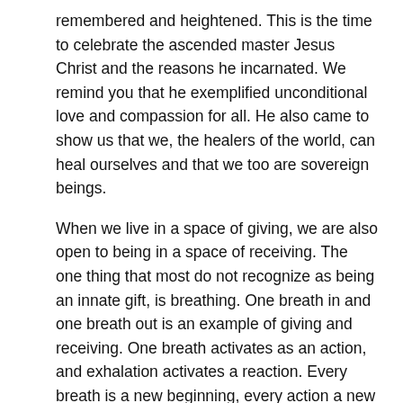remembered and heightened. This is the time to celebrate the ascended master Jesus Christ and the reasons he incarnated. We remind you that he exemplified unconditional love and compassion for all. He also came to show us that we, the healers of the world, can heal ourselves and that we too are sovereign beings.
When we live in a space of giving, we are also open to being in a space of receiving. The one thing that most do not recognize as being an innate gift, is breathing. One breath in and one breath out is an example of giving and receiving. One breath activates as an action, and exhalation activates a reaction. Every breath is a new beginning, every action a new reaction. This is life.